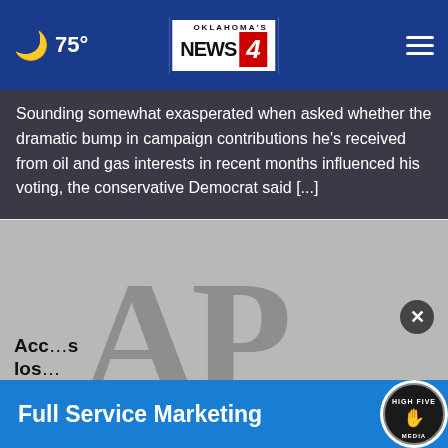75° Oklahoma's News 4
Sounding somewhat exasperated when asked whether the dramatic bump in campaign contributions he's received from oil and gas interests in recent months influenced his voting, the conservative Democrat said [...]
[Figure (photo): AP logo placeholder image on grey background]
Acc...s los...
[Figure (other): Full Service Marketing advertisement banner with High Five Media logo]